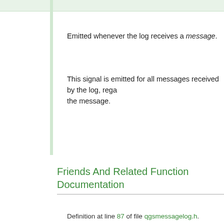Emitted whenever the log receives a message.
This signal is emitted for all messages received by the log, regardless of the message.
Friends And Related Function Documentation
◆ QgsMessageLogNotifyBlocker
friend class QgsMessageLogNotifyBlocker [friend]
Definition at line 87 of file qgsmessagelog.h.